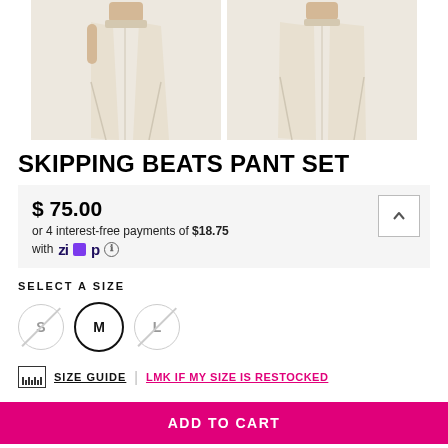[Figure (photo): Two product photos of a cream/beige wide-leg pant set with side slits, shown on a model from different angles]
SKIPPING BEATS PANT SET
$ 75.00
or 4 interest-free payments of $18.75 with Zip ℹ
SELECT A SIZE
S  M  L
SIZE GUIDE | LMK IF MY SIZE IS RESTOCKED